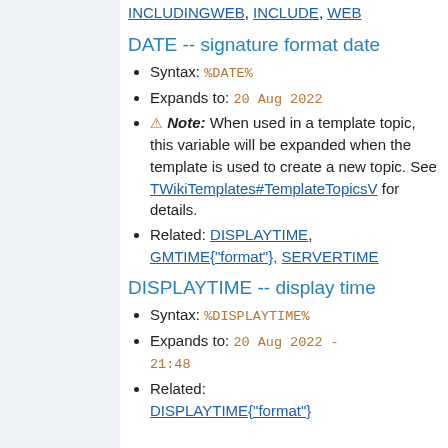INCLUDINGWEB, INCLUDE, WEB
DATE -- signature format date
Syntax: %DATE%
Expands to: 20 Aug 2022
⚠ Note: When used in a template topic, this variable will be expanded when the template is used to create a new topic. See TWikiTemplates#TemplateTopicsV for details.
Related: DISPLAYTIME, GMTIME{"format"}, SERVERTIME
DISPLAYTIME -- display time
Syntax: %DISPLAYTIME%
Expands to: 20 Aug 2022 - 21:48
Related:
DISPLAYTIME{"format"}